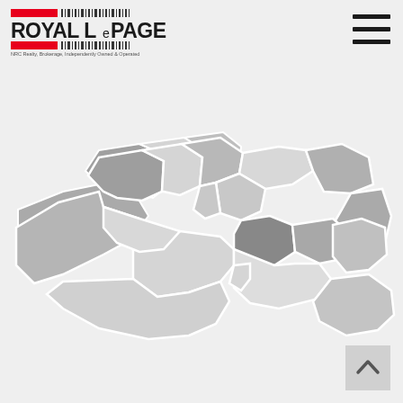[Figure (logo): Royal LePage logo with red bars and barcode pattern, text reads ROYAL LePAGE, NRC Realty Brokerage, Independently Owned & Operated]
[Figure (map): Greyscale choropleth map of a metropolitan region divided into neighbourhood districts, shown in varying shades of grey and light grey to indicate different data values. White borders separate the zones. The map has an irregular elongated shape with a pointed western extension.]
[Figure (other): Hamburger menu icon with three horizontal dark bars in top right corner]
[Figure (other): Back/up arrow button in bottom right corner, light grey square with upward chevron]